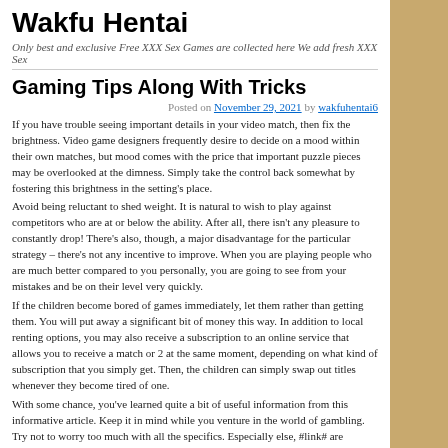Wakfu Hentai
Only best and exclusive Free XXX Sex Games are collected here We add fresh XXX Sex
Gaming Tips Along With Tricks
Posted on November 29, 2021 by wakfuhentai6
If you have trouble seeing important details in your video match, then fix the brightness. Video game designers frequently desire to decide on a mood within their own matches, but mood comes with the price that important puzzle pieces may be overlooked at the dimness. Simply take the control back somewhat by fostering this brightness in the setting's place.
Avoid being reluctant to shed weight. It is natural to wish to play against competitors who are at or below the ability. After all, there isn't any pleasure to constantly drop! There's also, though, a major disadvantage for the particular strategy – there's not any incentive to improve. When you are playing people who are much better compared to you personally, you are going to see from your mistakes and be on their level very quickly.
If the children become bored of games immediately, let them rather than getting them. You will put away a significant bit of money this way. In addition to local renting options, you may also receive a subscription to an online service that allows you to receive a match or 2 at the same moment, depending on what kind of subscription that you simply get. Then, the children can simply swap out titles whenever they become tired of one.
With some chance, you've learned quite a bit of useful information from this informative article. Keep it in mind while you venture in the world of gambling. Try not to worry too much with all the specifics. Especially else, #link# are supposed to be interesting. Allow your brand new passion be one you like.
This entry was posted in Hentai Porn Bookmark the permalink.